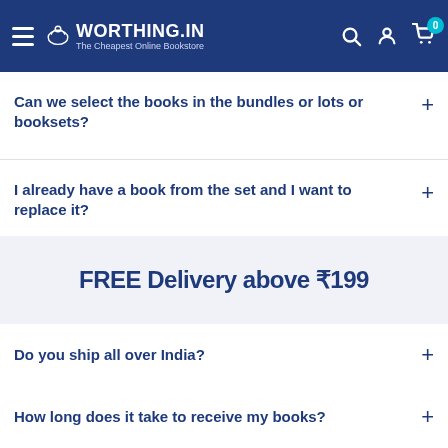WORTHING.IN - The Cheapest Online Bookstore
Can we select the books in the bundles or lots or booksets?
I already have a book from the set and I want to replace it?
FREE Delivery above ₹199
Do you ship all over India?
How long does it take to receive my books?